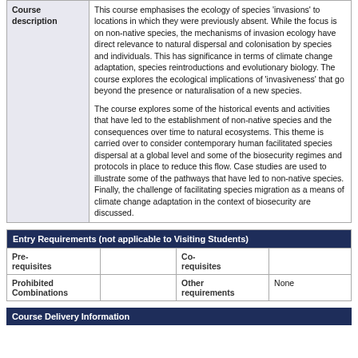| Course description |  |
| --- | --- |
| Course description | This course emphasises the ecology of species 'invasions' to locations in which they were previously absent. While the focus is on non-native species, the mechanisms of invasion ecology have direct relevance to natural dispersal and colonisation by species and individuals. This has significance in terms of climate change adaptation, species reintroductions and evolutionary biology. The course explores the ecological implications of 'invasiveness' that go beyond the presence or naturalisation of a new species.

The course explores some of the historical events and activities that have led to the establishment of non-native species and the consequences over time to natural ecosystems. This theme is carried over to consider contemporary human facilitated species dispersal at a global level and some of the biosecurity regimes and protocols in place to reduce this flow. Case studies are used to illustrate some of the pathways that have led to non-native species. Finally, the challenge of facilitating species migration as a means of climate change adaptation in the context of biosecurity are discussed. |
| Entry Requirements (not applicable to Visiting Students) |
| --- |
| Pre-requisites |  | Co-requisites |  |
| Prohibited Combinations |  | Other requirements | None |
Course Delivery Information